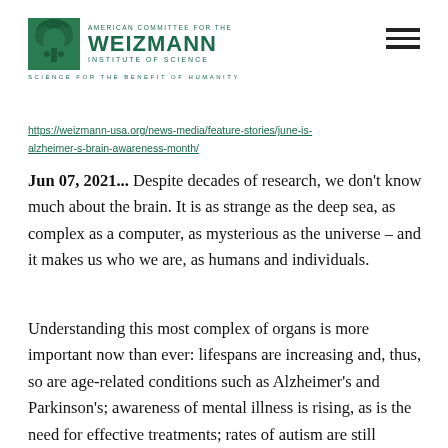[Figure (logo): American Committee for the Weizmann Institute of Science logo with green tree emblem and text. Tagline: SCIENCE FOR THE BENEFIT OF HUMANITY]
https://weizmann-usa.org/news-media/feature-stories/june-is-alzheimer-s-brain-awareness-month/
Jun 07, 2021... Despite decades of research, we don't know much about the brain. It is as strange as the deep sea, as complex as a computer, as mysterious as the universe – and it makes us who we are, as humans and individuals.
Understanding this most complex of organs is more important now than ever: lifespans are increasing and, thus, so are age-related conditions such as Alzheimer's and Parkinson's; awareness of mental illness is rising, as is the need for effective treatments; rates of autism are still